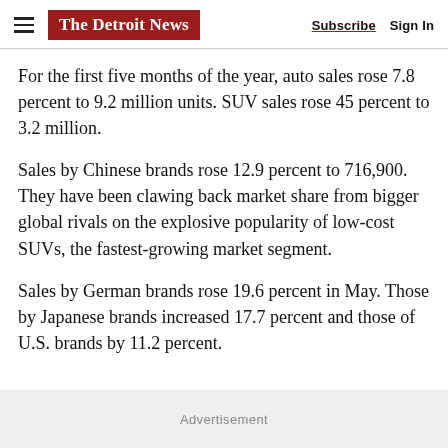The Detroit News | Subscribe  Sign In
For the first five months of the year, auto sales rose 7.8 percent to 9.2 million units. SUV sales rose 45 percent to 3.2 million.
Sales by Chinese brands rose 12.9 percent to 716,900. They have been clawing back market share from bigger global rivals on the explosive popularity of low-cost SUVs, the fastest-growing market segment.
Sales by German brands rose 19.6 percent in May. Those by Japanese brands increased 17.7 percent and those of U.S. brands by 11.2 percent.
Advertisement